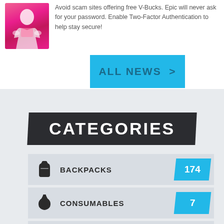[Figure (illustration): Fortnite character illustration on pink/magenta background - a female character in pink and white outfit]
Avoid scam sites offering free V-Bucks. Epic will never ask for your password. Enable Two-Factor Authentication to help stay secure!
ALL NEWS >
CATEGORIES
BACKPACKS 174
CONSUMABLES 7
EMOTES 357